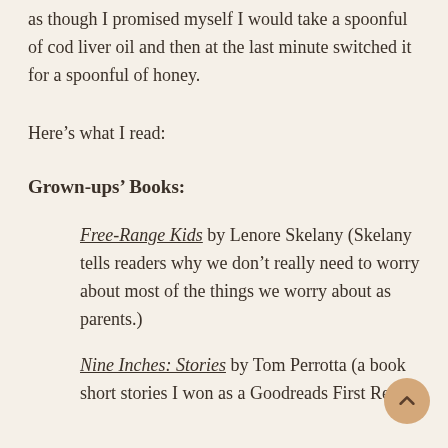as though I promised myself I would take a spoonful of cod liver oil and then at the last minute switched it for a spoonful of honey.
Here's what I read:
Grown-ups' Books:
Free-Range Kids by Lenore Skelany (Skelany tells readers why we don't really need to worry about most of the things we worry about as parents.)
Nine Inches: Stories by Tom Perrotta (a book short stories I won as a Goodreads First Reads